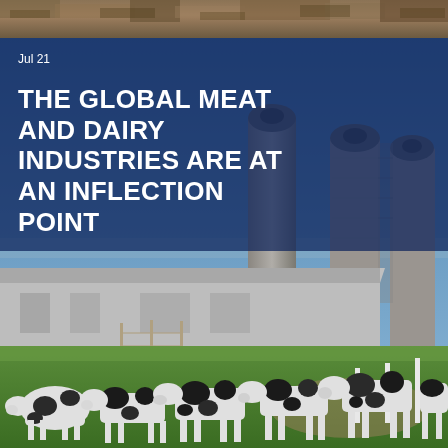[Figure (photo): Top strip showing rocky or dirt terrain texture]
[Figure (photo): Farm scene with blue sky, three large grain silos in the background, a long white farm building, green grass pasture, and a herd of black and white Holstein dairy cows walking in the foreground]
Jul 21
THE GLOBAL MEAT AND DAIRY INDUSTRIES ARE AT AN INFLECTION POINT